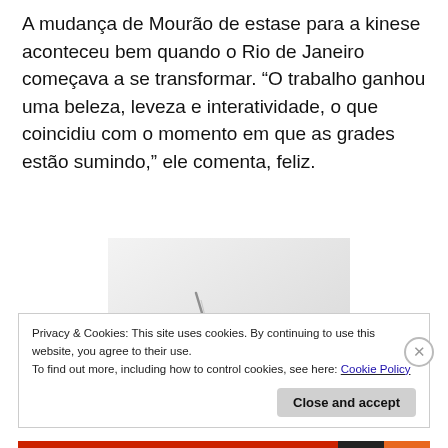A mudança de Mourão de estase para a kinese aconteceu bem quando o Rio de Janeiro começava a se transformar. “O trabalho ganhou uma beleza, leveza e interatividade, o que coincidiu com o momento em que as grades estão sumindo,” ele comenta, feliz.
[Figure (photo): Close-up photo of a clock mechanism showing hands and movement, minimalist style with white background]
Privacy & Cookies: This site uses cookies. By continuing to use this website, you agree to their use.
To find out more, including how to control cookies, see here: Cookie Policy
Close and accept